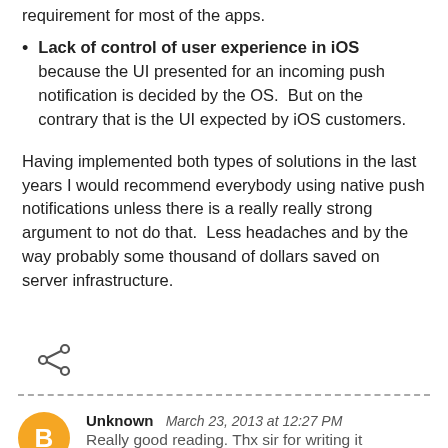requirement for most of the apps.
Lack of control of user experience in iOS because the UI presented for an incoming push notification is decided by the OS.  But on the contrary that is the UI expected by iOS customers.
Having implemented both types of solutions in the last years I would recommend everybody using native push notifications unless there is a really really strong argument to not do that. Less headaches and by the way probably some thousand of dollars saved on server infrastructure.
[Figure (other): Share icon (less-than style arrows)]
Unknown  March 23, 2013 at 12:27 PM
Really good reading. Thx sir for writing it